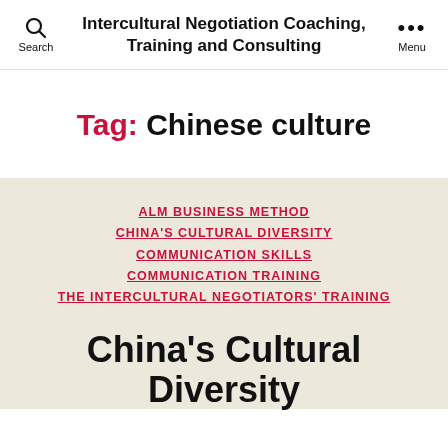Intercultural Negotiation Coaching, Training and Consulting
Tag: Chinese culture
ALM BUSINESS METHOD
CHINA'S CULTURAL DIVERSITY
COMMUNICATION SKILLS
COMMUNICATION TRAINING
THE INTERCULTURAL NEGOTIATORS' TRAINING
China's Cultural Diversity